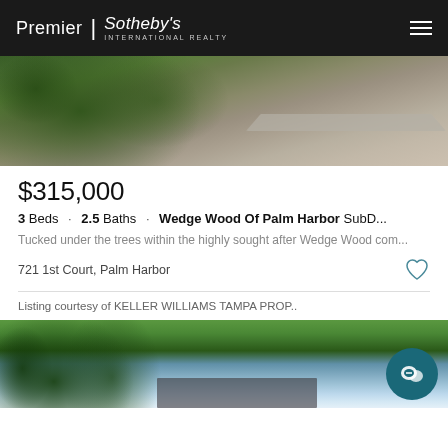Premier | Sotheby's INTERNATIONAL REALTY
[Figure (photo): Outdoor walkway with concrete path, gravel ground, and lush green tropical plants and shrubs along the left side]
$315,000
3 Beds · 2.5 Baths · Wedge Wood Of Palm Harbor SubD...
Tucked under the trees within the highly sought after Wedge Wood com...
721 1st Court, Palm Harbor
Listing courtesy of KELLER WILLIAMS TAMPA PROP..
[Figure (photo): Exterior view of property with tall trees, cloudy blue sky, and what appears to be a dark roof visible at the bottom]